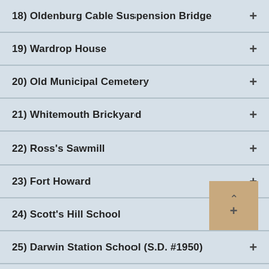18) Oldenburg Cable Suspension Bridge
19) Wardrop House
20) Old Municipal Cemetery
21) Whitemouth Brickyard
22) Ross's Sawmill
23) Fort Howard
24) Scott's Hill School
25) Darwin Station School (S.D. #1950)
26) Whitemouth Reynolds North Whiteshell Master Management Facility